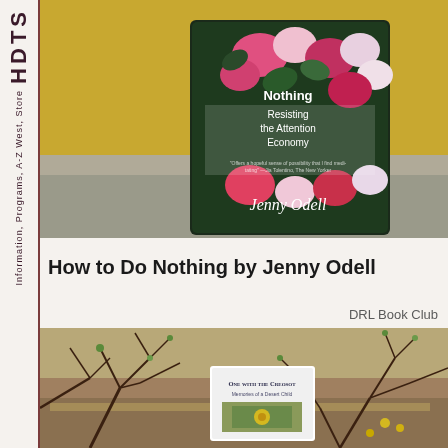[Figure (photo): Book 'How to Do Nothing: Resisting the Attention Economy' by Jenny Odell, placed against a yellow textured wall with flowers]
How to Do Nothing by Jenny Odell
DRL Book Club
HDTS
Information, Programs, A-Z West, Store
[Figure (photo): Book 'One with the Creosote: Memories of a Desert Child' placed among desert shrub branches]